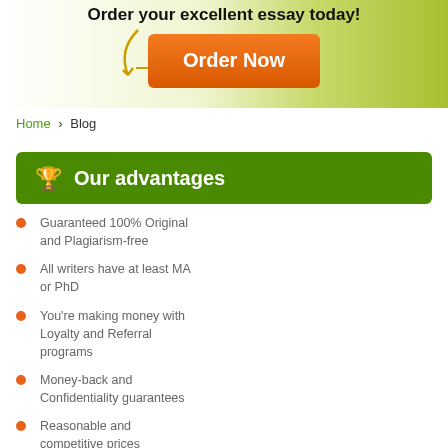[Figure (other): Banner with 'Order your excellent essay today!' heading and orange Order Now button on a green gradient background with arrow decoration]
Home > Blog
Our advantages
Guaranteed 100% Original and Plagiarism-free
All writers have at least MA or PhD
You're making money with Loyalty and Referral programs
Money-back and Confidentiality guarantees
Reasonable and competitive prices